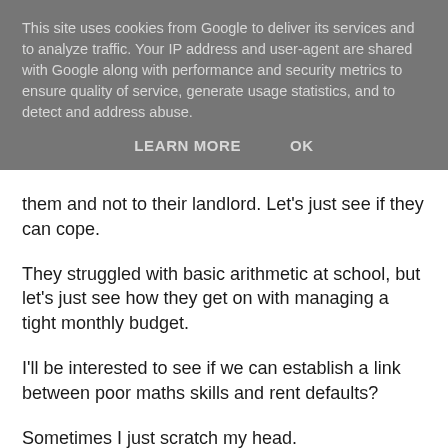This site uses cookies from Google to deliver its services and to analyze traffic. Your IP address and user-agent are shared with Google along with performance and security metrics to ensure quality of service, generate usage statistics, and to detect and address abuse.
LEARN MORE    OK
them and not to their landlord. Let's just see if they can cope.
They struggled with basic arithmetic at school, but let's just see how they get on with managing a tight monthly budget.
I'll be interested to see if we can establish a link between poor maths skills and rent defaults?
Sometimes I just scratch my head.
For those who want to catch up on where we're at with  LHA as part of the new Universal Credits, you can download the latest PDF briefing paper from Parliament here